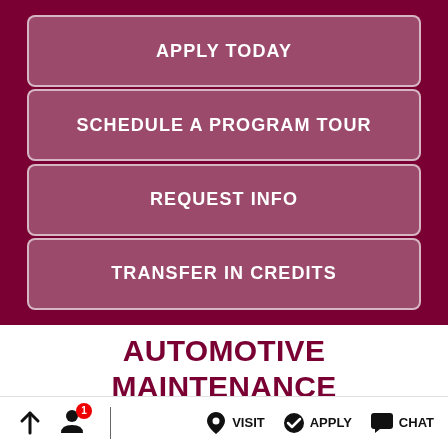APPLY TODAY
SCHEDULE A PROGRAM TOUR
REQUEST INFO
TRANSFER IN CREDITS
AUTOMOTIVE MAINTENANCE TECHNICIAN OUTCOMES
↑  1  VISIT  APPLY  CHAT